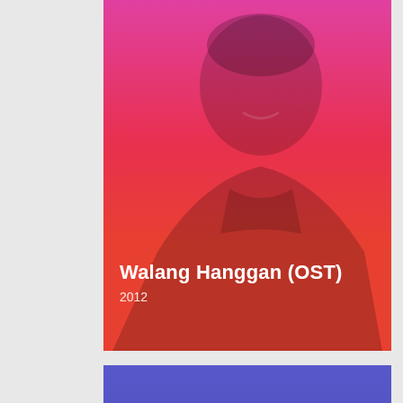[Figure (photo): Album cover for Walang Hanggan (OST) 2012 - top card showing a person smiling with a pink-to-red gradient overlay]
Walang Hanggan (OST)
2012
[Figure (photo): Second album card with a purple/blue gradient background and a large watermark numeral]